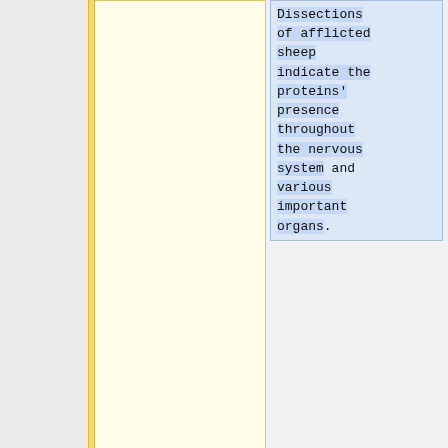Dissections of afflicted sheep indicate the proteins' presence throughout the nervous system and various important organs.
==Prion Diseases==
[[image:scrapie sheep.jpeg|thumb|400px|right|Figure 3. Sheep infected